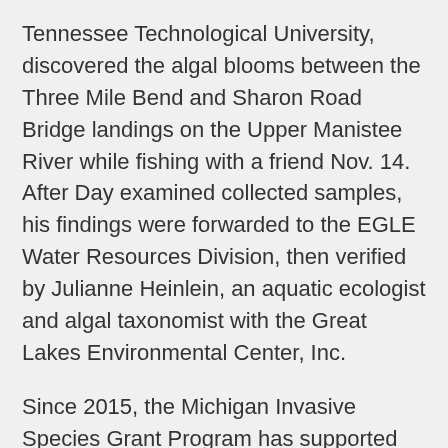Tennessee Technological University, discovered the algal blooms between the Three Mile Bend and Sharon Road Bridge landings on the Upper Manistee River while fishing with a friend Nov. 14. After Day examined collected samples, his findings were forwarded to the EGLE Water Resources Division, then verified by Julianne Heinlein, an aquatic ecologist and algal taxonomist with the Great Lakes Environmental Center, Inc.
Since 2015, the Michigan Invasive Species Grant Program has supported researchers at Lake Superior State University's Center for Freshwater Research and Education in an extensive study of occurrences of didymo in the St. Marys River and Upper Peninsula waters, the risk of spread and why nuisance blooms are increasing - a phenomenon being observed worldwide.
The Manistee River detection suggests didymo's distribution in Michigan waters may be more widespread than previously expected. LSSU's ongoing efforts will help guide